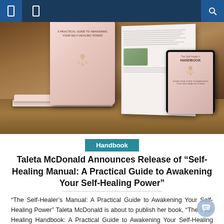Navigation bar with icons
[Figure (photo): Photo of The Self-Healing Handbook book set displayed on a wooden table — stacked physical books, an open book showing interior pages, and a tablet displaying the book cover. Book covers are pink/rose with gold accent designs.]
Handbook
Taleta McDonald Announces Release of “Self-Healing Manual: A Practical Guide to Awakening Your Self-Healing Power”
“The Self-Healer’s Manual: A Practical Guide to Awakening Your Self-Healing Power” Taleta McDonald is about to publish her book, “The Self-Healing Handbook: A Practical Guide to Awakening Your Self-Healing Power.” Taleta McDonald